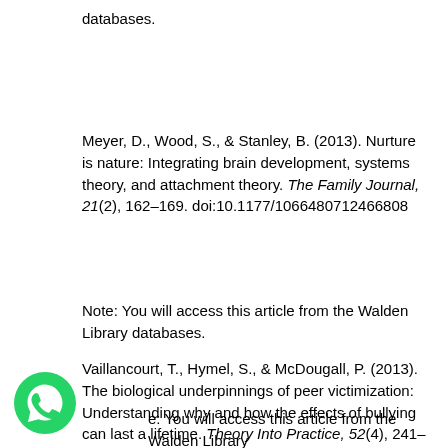databases.
Meyer, D., Wood, S., & Stanley, B. (2013). Nurture is nature: Integrating brain development, systems theory, and attachment theory. The Family Journal, 21(2), 162–169. doi:10.1177/1066480712466808
Note: You will access this article from the Walden Library databases.
Vaillancourt, T., Hymel, S., & McDougall, P. (2013). The biological underpinnings of peer victimization: Understanding why and how the effects of bullying can last a lifetime. Theory Into Practice, 52(4), 241–248. doi:10.1080/00405841.2013.829726
Note: You will access this article from the Walden Library databases.
[Figure (logo): WhatsApp green phone icon]